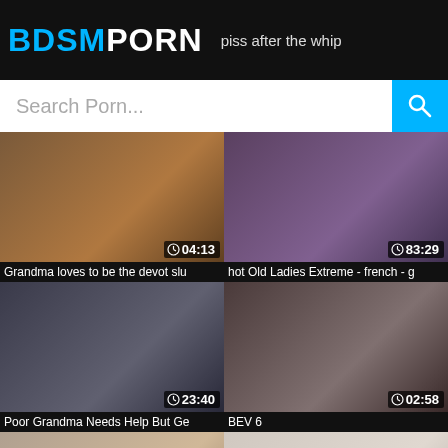BDSMPORN — piss after the whip
Search Porn...
[Figure (screenshot): Video thumbnail row 1 left, duration 04:13]
Grandma loves to be the devot slu
[Figure (screenshot): Video thumbnail row 1 right, duration 83:29]
hot Old Ladies Extreme - french - g
[Figure (screenshot): Video thumbnail row 2 left, duration 23:40]
Poor Grandma Needs Help But Ge
[Figure (screenshot): Video thumbnail row 2 right, duration 02:58]
BEV 6
[Figure (screenshot): Video thumbnail row 3 left, partially visible]
[Figure (screenshot): Video thumbnail row 3 right, partially visible]